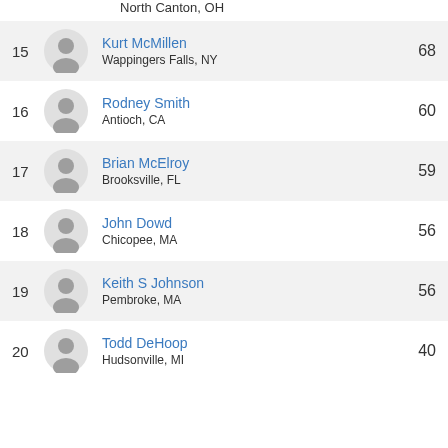North Canton, OH
15 Kurt McMillen Wappingers Falls, NY 68
16 Rodney Smith Antioch, CA 60
17 Brian McElroy Brooksville, FL 59
18 John Dowd Chicopee, MA 56
19 Keith S Johnson Pembroke, MA 56
20 Todd DeHoop Hudsonville, MI 40